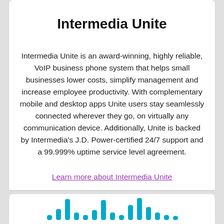Intermedia Unite
Intermedia Unite is an award-winning, highly reliable, VoIP business phone system that helps small businesses lower costs, simplify management and increase employee productivity. With complementary mobile and desktop apps Unite users stay seamlessly connected wherever they go, on virtually any communication device. Additionally, Unite is backed by Intermedia's J.D. Power-certified 24/7 support and a 99.999% uptime service level agreement.
Learn more about Intermedia Unite
[Figure (other): Waveform / audio signal bars icon in cyan/blue color]